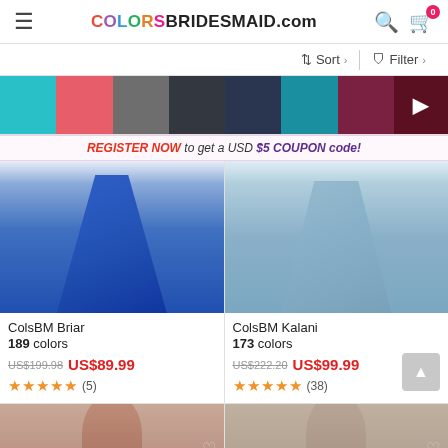COLORSBRIDESMAID.com
Sort  Filter
[Figure (screenshot): Color swatch filter row with cyan, coral, gray, dark gray, navy, teal, burgundy, dark red/arrow swatches]
REGISTER NOW to get a USD $5 COUPON code!
[Figure (photo): Blue long bridesmaid dress product photo]
ColsBM Briar
189 colors
US$199.98  US$89.99
★★★★★ (5)
[Figure (photo): Light blue long bridesmaid dress product photo]
ColsBM Kalani
173 colors
US$222.20  US$99.99
★★★★★ (38)
[Figure (photo): Bottom partial product images showing two more dresses]